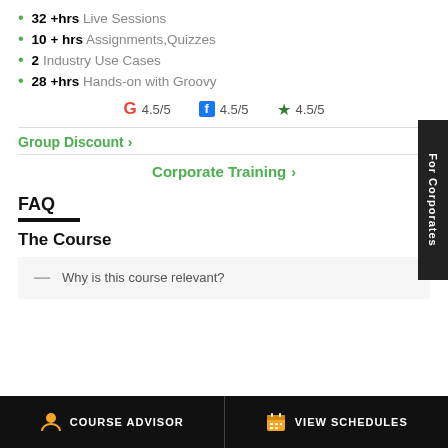32 +hrs Live Sessions
10 + hrs Assignments, Quizzes
2 Industry Use Cases
28 +hrs Hands-on with Groovy
G 4.5/5   f 4.5/5   ★ 4.5/5
Group Discount >
Corporate Training >
FAQ
The Course
— Why is this course relevant?
COURSE ADVISOR   VIEW SCHEDULES